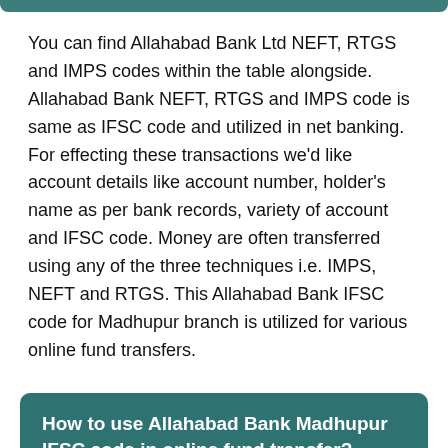You can find Allahabad Bank Ltd NEFT, RTGS and IMPS codes within the table alongside. Allahabad Bank NEFT, RTGS and IMPS code is same as IFSC code and utilized in net banking. For effecting these transactions we'd like account details like account number, holder's name as per bank records, variety of account and IFSC code. Money are often transferred using any of the three techniques i.e. IMPS, NEFT and RTGS. This Allahabad Bank IFSC code for Madhupur branch is utilized for various online fund transfers.
How to use Allahabad Bank Madhupur IFSC code in online fund transfer?
Allahabad Bank Madhupur IFSC code is an 11 digit code utilized in online fund transfers. This IFSC code